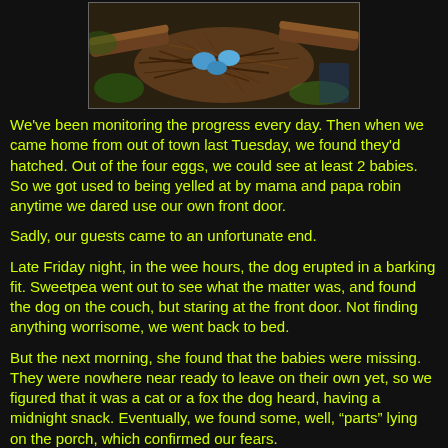[Figure (photo): Bird nest with eggs/hatchlings on a tree branch, viewed from above, with green leaves visible in background]
We've been monitoring the progress every day. Then when we came home from out of town last Tuesday, we found they'd hatched. Out of the four eggs, we could see at least 2 babies. So we got used to being yelled at by mama and papa robin anytime we dared use our own front door.
Sadly, our guests came to an unfortunate end.
Late Friday night, in the wee hours, the dog erupted in a barking fit. Sweetpea went out to see what the matter was, and found the dog on the couch, but staring at the front door. Not finding anything worrisome, we went back to bed.
But the next morning, she found that the babies were missing. They were nowhere near ready to leave on their own yet, so we figured that it was a cat or a fox the dog heard, having a midnight snack. Eventually, we found some, well, “parts” lying on the porch, which confirmed our fears.